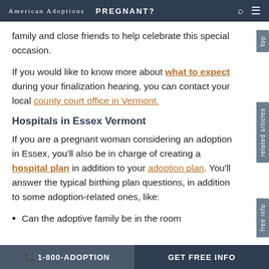American Adoptions   PREGNANT?
family and close friends to help celebrate this special occasion.
If you would like to know more about what to expect during your finalization hearing, you can contact your local county court office in Vermont.
Hospitals in Essex Vermont
If you are a pregnant woman considering an adoption in Essex, you'll also be in charge of creating a hospital plan in addition to your adoption plan. You'll answer the typical birthing plan questions, in addition to some adoption-related ones, like:
Can the adoptive family be in the room
📞 1-800-ADOPTION    GET FREE INFO